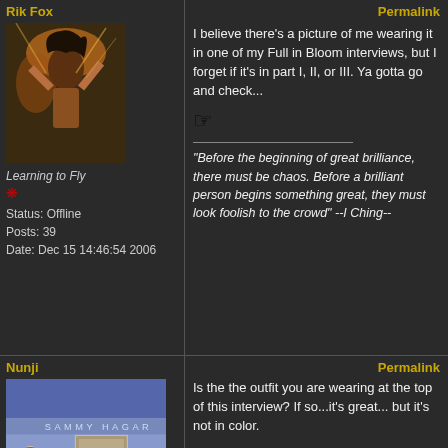Rik Fox
Permalink
[Figure (photo): Avatar photo of Rik Fox performing on stage with long hair and guitar]
Learning to Fly
Status: Offline
Posts: 39
Date: Dec 15 14:46:54 2006
I believe there's a picture of me wearing it in one of my Full in Bloom interviews, but I forget if it's in part I, II, or III. Ya gotta go and check...
"Before the beginning of great brilliance, there must be chaos. Before a brilliant person begins something great, they must look foolish to the crowd" --I Ching--
Nunji
Permalink
[Figure (photo): Sammy Hagar album cover showing a person in a black bowler hat and suit, with a woman in red in the background]
Is the the outfit you are wearing at the top of this interview? If so...it's great... but it's not in color.